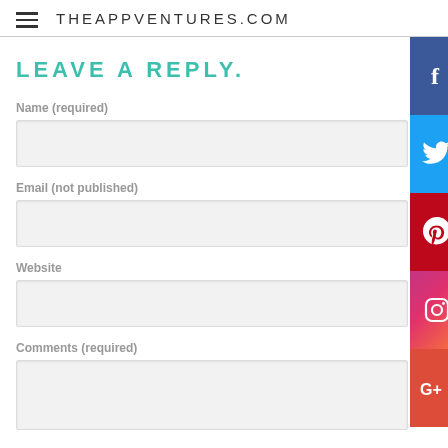THEAPPVENTURES.COM
LEAVE A REPLY.
Name (required)
Email (not published)
Website
Comments (required)
[Figure (infographic): Social media share buttons sidebar: Facebook (blue), Twitter (light blue), Pinterest (red), Instagram (gradient pink/purple), Google+ (red-orange)]